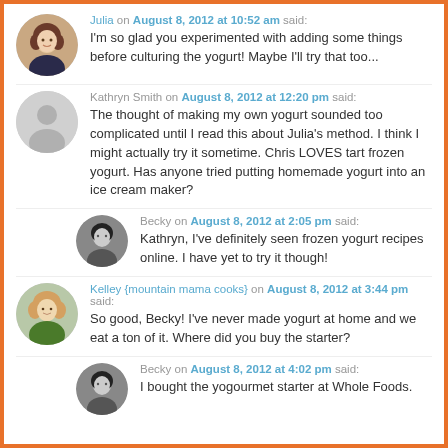Julia on August 8, 2012 at 10:52 am said: I'm so glad you experimented with adding some things before culturing the yogurt! Maybe I'll try that too...
Kathryn Smith on August 8, 2012 at 12:20 pm said: The thought of making my own yogurt sounded too complicated until I read this about Julia's method. I think I might actually try it sometime. Chris LOVES tart frozen yogurt. Has anyone tried putting homemade yogurt into an ice cream maker?
Becky on August 8, 2012 at 2:05 pm said: Kathryn, I've definitely seen frozen yogurt recipes online. I have yet to try it though!
Kelley {mountain mama cooks} on August 8, 2012 at 3:44 pm said: So good, Becky! I've never made yogurt at home and we eat a ton of it. Where did you buy the starter?
Becky on August 8, 2012 at 4:02 pm said: I bought the yogourmet starter at Whole Foods.